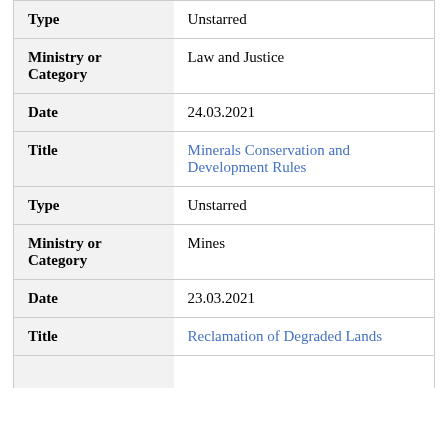| Field | Value |
| --- | --- |
| Type | Unstarred |
| Ministry or Category | Law and Justice |
| Date | 24.03.2021 |
| Title | Minerals Conservation and Development Rules |
| Type | Unstarred |
| Ministry or Category | Mines |
| Date | 23.03.2021 |
| Title | Reclamation of Degraded Lands |